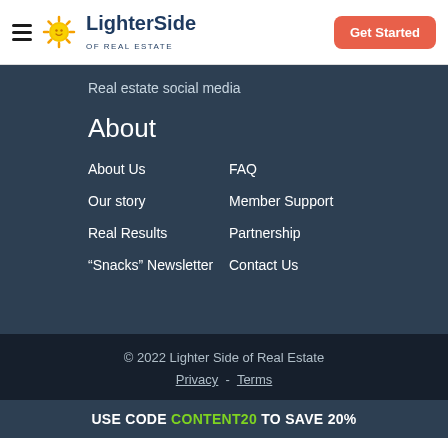LighterSide OF REAL ESTATE | Get Started
Real estate social media
About
About Us
FAQ
Our story
Member Support
Real Results
Partnership
“Snacks” Newsletter
Contact Us
© 2022 Lighter Side of Real Estate Privacy - Terms
USE CODE CONTENT20 TO SAVE 20%